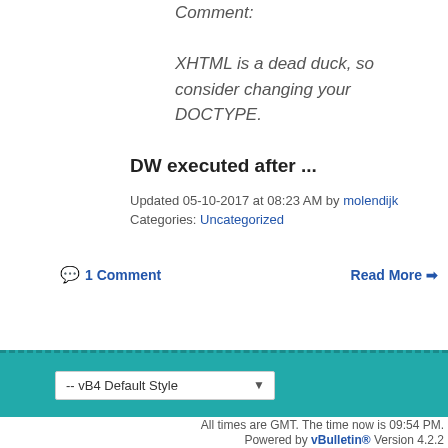Comment:
XHTML is a dead duck, so consider changing your DOCTYPE.
DW executed after ...
Updated 05-10-2017 at 08:23 AM by molendijk
Categories: Uncategorized
1 Comment
Read More ➡
Page 1 of 7  1  2  3  ...  ▶  Last ▶▶
-- vB4 Default Style
All times are GMT. The time now is 09:54 PM.
Powered by vBulletin® Version 4.2.2
Copyright © 2022 vBulletin Solutions, Inc. All rights re